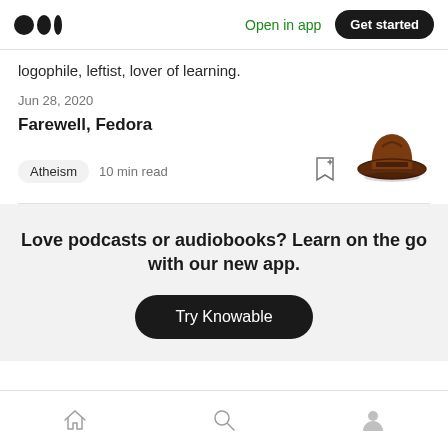Open in app  Get started
logophile, leftist, lover of learning.
Jun 28, 2020
Farewell, Fedora
Atheism  10 min read
[Figure (photo): Brown fedora hat thumbnail image]
Love podcasts or audiobooks? Learn on the go with our new app.
Try Knowable
Home  Search  Profile